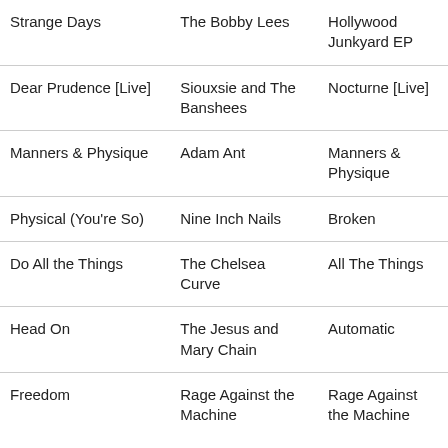| Strange Days | The Bobby Lees | Hollywood Junkyard EP |
| Dear Prudence [Live] | Siouxsie and The Banshees | Nocturne [Live] |
| Manners & Physique | Adam Ant | Manners & Physique |
| Physical (You're So) | Nine Inch Nails | Broken |
| Do All the Things | The Chelsea Curve | All The Things |
| Head On | The Jesus and Mary Chain | Automatic |
| Freedom | Rage Against the Machine | Rage Against the Machine |